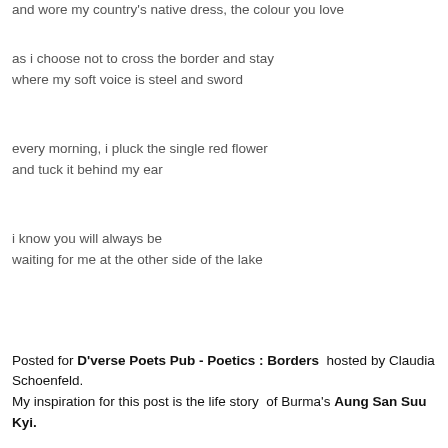and wore my country's native dress, the colour you love
as i choose not to cross the border and stay
where my soft voice is steel and sword
every morning, i pluck the single red flower
and tuck it behind my ear
i know you will always be
waiting for me at the other side of the lake
Posted for D'verse Poets Pub - Poetics : Borders  hosted by Claudia Schoenfeld.
My inspiration for this post is the life story  of Burma's Aung San Suu Kyi.
* That 1995 visit was the last time Michael and Suu were ever allowed to...